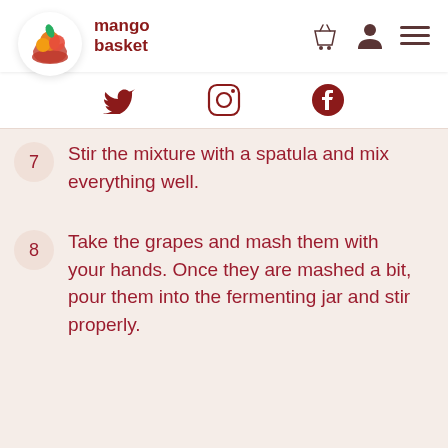mango basket
[Figure (logo): Mango Basket logo with fruit basket icon and text]
[Figure (other): Social media icons: Twitter, Instagram, Facebook]
7 - Stir the mixture with a spatula and mix everything well.
8 - Take the grapes and mash them with your hands. Once they are mashed a bit, pour them into the fermenting jar and stir properly.
9 - Place the lid of the fermenter and make sure that it is airlock.
10 - Leave the jar for around 24 hours and check whether the fermentation has started or not. (In this recipe, grapes are used as a substitute of yeast)